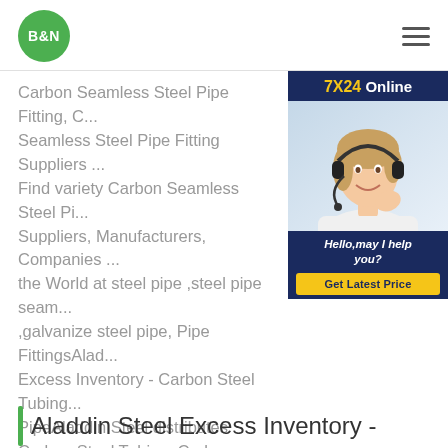B&N logo and navigation
[Figure (infographic): 7X24 Online customer service ad with photo of woman with headset and 'Get Latest Price' button]
Carbon Seamless Steel Pipe Fitting, C... Seamless Steel Pipe Fitting Suppliers ... Find variety Carbon Seamless Steel Pi... Suppliers, Manufacturers, Companies ... the World at steel pipe ,steel pipe seam... ,galvanize steel pipe, Pipe FittingsAlad... Excess Inventory - Carbon Steel Tubing... PipeAladdin Steel distributes Carbon Steel Tubing, Carbon Steel Pipe and Tube in the U.S. and Canada. Large inventory of carbon steel tube and alloy steel products.
Aladdin Steel Excess Inventory -